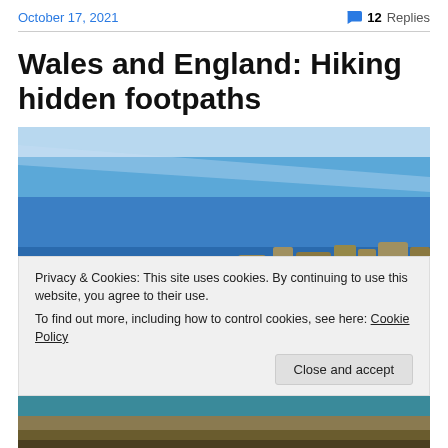October 17, 2021    💬 12 Replies
Wales and England: Hiking hidden footpaths
[Figure (photo): Coastal landscape photo showing a dark blue sea occupying the upper two-thirds and rocky outcrops along the bottom edge, with a clear sky above]
Privacy & Cookies: This site uses cookies. By continuing to use this website, you agree to their use.
To find out more, including how to control cookies, see here: Cookie Policy
Close and accept